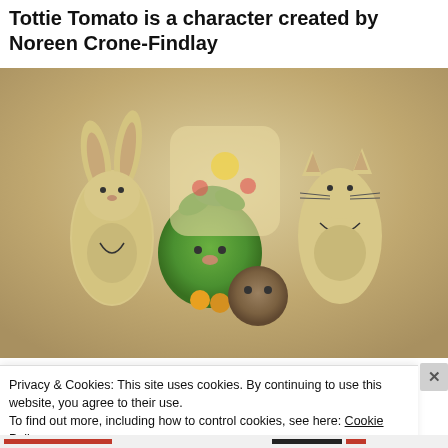Tottie Tomato is a character created by Noreen Crone-Findlay
[Figure (photo): Photo of handcrafted toy characters: a rabbit, a green tomato figure (Tottie Tomato) with flowers, a round brown bear, and a cat — all arranged in front of a floral embroidered background]
Privacy & Cookies: This site uses cookies. By continuing to use this website, you agree to their use.
To find out more, including how to control cookies, see here: Cookie Policy
Close and accept